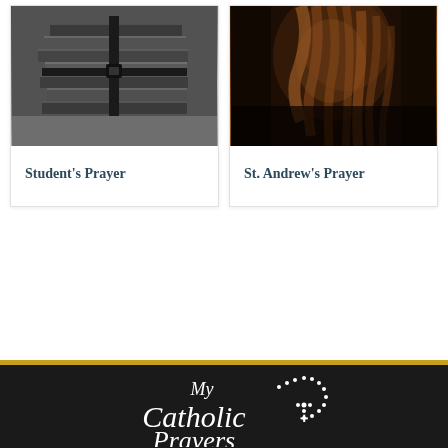[Figure (photo): Stack of books tied with a black strap on a gray surface]
Student's Prayer
[Figure (photo): Dark painting of a saint figure with flowing hair, classical religious art style]
St. Andrew's Prayer
[Figure (logo): My Catholic Prayers logo in white script text on dark background with dotted cross design]